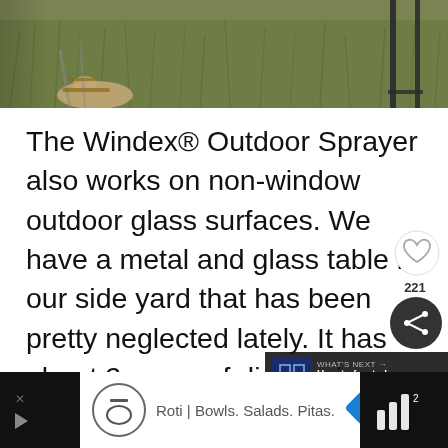[Figure (photo): Top portion of a photo showing grass/lawn area with partial view of person's feet in sandals on left and metal furniture legs on right]
The Windex® Outdoor Sprayer also works on non-window outdoor glass surfaces. We have a metal and glass table in our side yard that has been pretty neglected lately. It has about 2 years of dirt + grime built up on it. We used the Windex® Outdoor Sprayer to get it completely clean.
[Figure (screenshot): UI overlay elements: heart/like button, share button with count 221, and 'What's Next' panel showing 'How to frost glass windows']
[Figure (other): Advertisement banner at bottom: Roti | Bowls. Salads. Pitas. with logo icons on dark background]